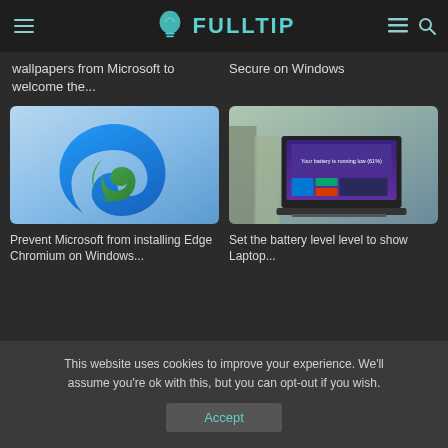FULLTIP
wallpapers from Microsoft to welcome the...
Secure on Windows
[Figure (screenshot): Microsoft Edge Chromium logo on gradient blue background]
[Figure (photo): Laptop on a desk showing Windows 10 screen with battery warning notification]
Prevent Microsoft from installing Edge Chromium on Windows...
Set the battery level level to show Laptop...
This website uses cookies to improve your experience. We'll assume you're ok with this, but you can opt-out if you wish.